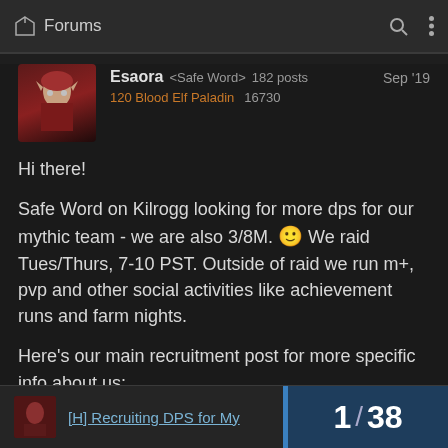Forums
Esaora <Safe Word> 182 posts Sep '19 120 Blood Elf Paladin 16730
Hi there!
Safe Word on Kilrogg looking for more dps for our mythic team - we are also 3/8M. 🙂 We raid Tues/Thurs, 7-10 PST. Outside of raid we run m+, pvp and other social activities like achievement runs and farm nights.
Here's our main recruitment post for more specific info about us:
[H] Recruiting DPS for My...
1 / 38